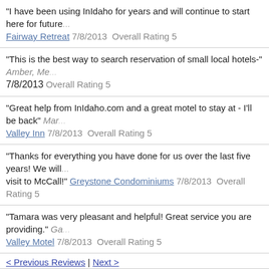"I have been using InIdaho for years and will continue to start here for future... Fairway Retreat 7/8/2013 Overall Rating 5
"This is the best way to search reservation of small local hotels-" Amber, Me... 7/8/2013 Overall Rating 5
"Great help from InIdaho.com and a great motel to stay at - I'll be back" Mar... Valley Inn 7/8/2013 Overall Rating 5
"Thanks for everything you have done for us over the last five years! We will... visit to McCall!" Greystone Condominiums 7/8/2013 Overall Rating 5
"Tamara was very pleasant and helpful! Great service you are providing." Ga... Valley Motel 7/8/2013 Overall Rating 5
< Previous Reviews | Next >
Page 12 of 57 | 1 2 3 4 5 6 7 8 9 10 11 12 13 14 15 16 17 18 19 20 21 22 23 ... 40 41 42 43 44 45 46 47 48 49 50 51 52 53 54 55 56 57
For local advice and reservations call our free service...